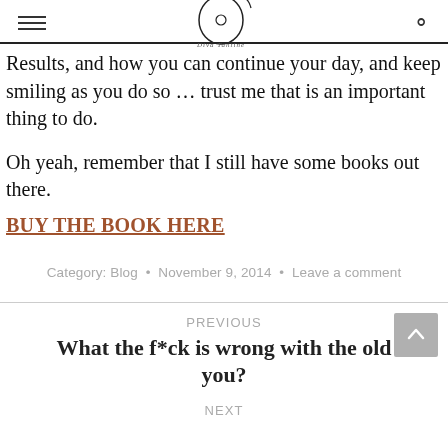[Logo: Diva Tantine blog header with hamburger menu and search icon]
Results, and how you can continue your day, and keep smiling as you do so … trust me that is an important thing to do.
Oh yeah, remember that I still have some books out there.
BUY THE BOOK HERE
Category: Blog • November 9, 2014 • Leave a comment
PREVIOUS
What the f*ck is wrong with the old you?
NEXT